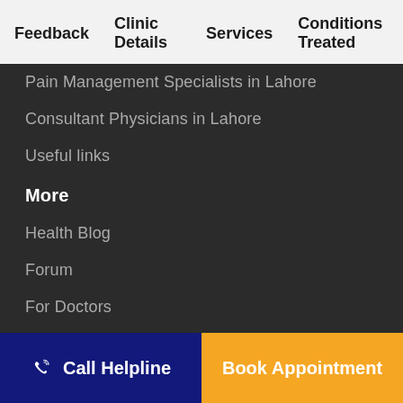Feedback   Clinic Details   Services   Conditions Treated
Pain Management Specialists in Lahore
Consultant Physicians in Lahore
Useful links
More
Health Blog
Forum
For Doctors
Get the oladoc App
Call Helpline   Book Appointment